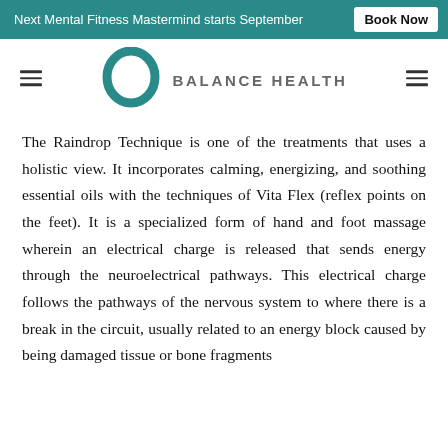Next Mental Fitness Mastermind starts September  Book Now
[Figure (logo): Balance Health logo: teal circular ring with text BALANCE HEALTH in spaced uppercase letters]
The Raindrop Technique is one of the treatments that uses a holistic view. It incorporates calming, energizing, and soothing essential oils with the techniques of Vita Flex (reflex points on the feet). It is a specialized form of hand and foot massage wherein an electrical charge is released that sends energy through the neuroelectrical pathways. This electrical charge follows the pathways of the nervous system to where there is a break in the circuit, usually related to an energy block caused by being damaged tissue or bone fragments...